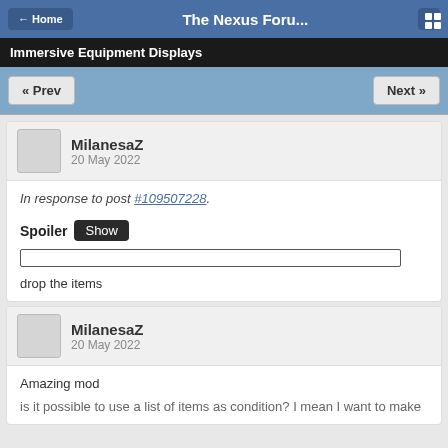← Home  The Nexus Foru...  [grid icon]
Immersive Equipment Displays
« Prev   Next »
MilanesaZ
20 May 2022
In response to post #109507228.
Spoiler Show
[spoiler box]
drop the items
MilanesaZ
20 May 2022
Amazing mod

is it possible to use a list of items as condition? I mean I want to make